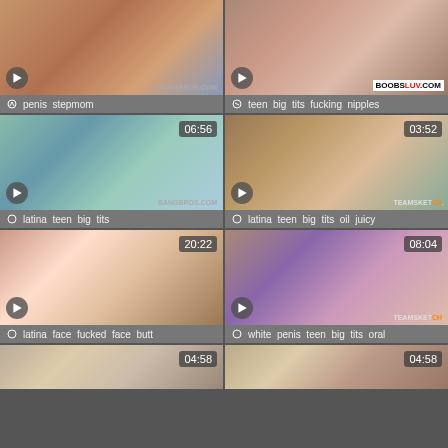[Figure (screenshot): Video thumbnail grid showing 8 video thumbnails arranged in 2 columns and 4 rows with tags below each thumbnail]
penis stepmom
teen big tits fucking nipples
latina teen big tits
latina teen big tits oil juicy
latina face fucked face butt
white penis teen big tits oral